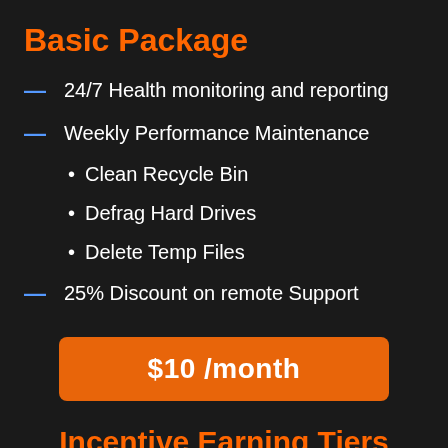Basic Package
24/7 Health monitoring and reporting
Weekly Performance Maintenance
Clean Recycle Bin
Defrag Hard Drives
Delete Temp Files
25% Discount on remote Support
$10 /month
Incentive Earning Tiers